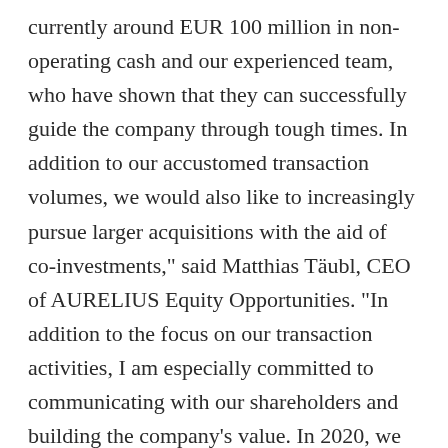currently around EUR 100 million in non-operating cash and our experienced team, who have shown that they can successfully guide the company through tough times. In addition to our accustomed transaction volumes, we would also like to increasingly pursue larger acquisitions with the aid of co-investments," said Matthias Täubl, CEO of AURELIUS Equity Opportunities. "In addition to the focus on our transaction activities, I am especially committed to communicating with our shareholders and building the company's value. In 2020, we already launched a comprehensive transparency initiative that we intend to supplement with additional measures in the current year. I am therefore pleased that the strong results of 2020 provide an excellent basis for